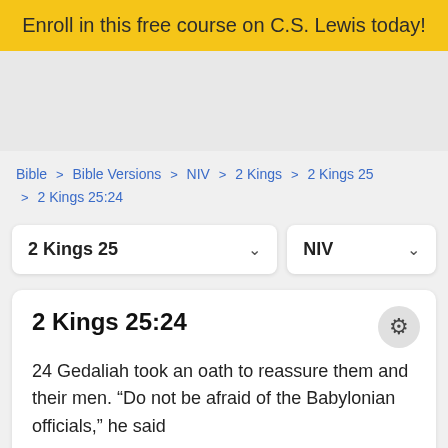Enroll in this free course on C.S. Lewis today!
Bible > Bible Versions > NIV > 2 Kings > 2 Kings 25 > 2 Kings 25:24
2 Kings 25 [dropdown] NIV [dropdown]
2 Kings 25:24
24 Gedaliah took an oath to reassure them and their men. “Do not be afraid of the Babylonian officials,” he said